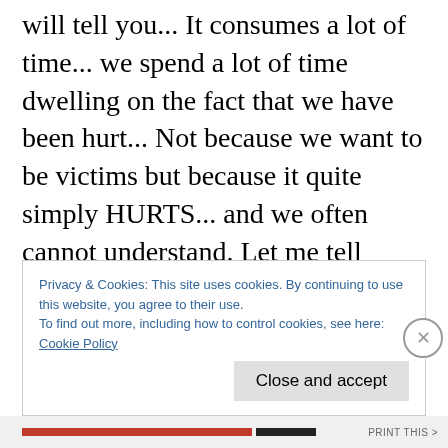will tell you... It consumes a lot of time... we spend a lot of time dwelling on the fact that we have been hurt... Not because we want to be victims but because it quite simply HURTS... and we often cannot understand. Let me tell you... I have been there... many times... and I still have trouble with forgiveness... I think it is because I am so sensitive... and when I get my feelings hurt... they seem to stay hurt for a very long time... Another thing that happens is that I totally shut down and completely remove
Privacy & Cookies: This site uses cookies. By continuing to use this website, you agree to their use.
To find out more, including how to control cookies, see here:
Cookie Policy
Close and accept